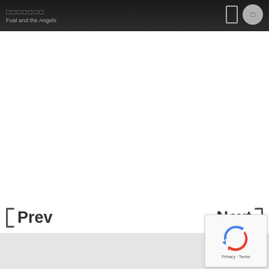□□□□□□□ Foal and the Angels
Prev
Next
[Figure (screenshot): reCAPTCHA badge with recycling arrow logo and Privacy - Terms text]